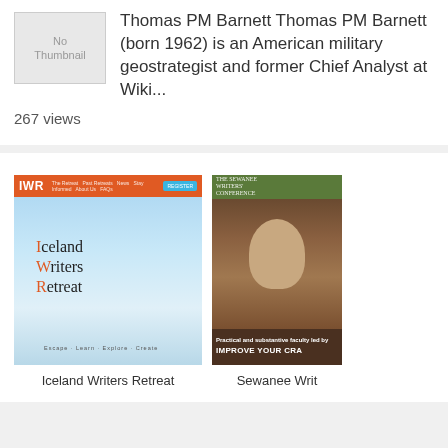[Figure (screenshot): No Thumbnail placeholder image]
Thomas PM Barnett Thomas PM Barnett (born 1962) is an American military geostrategist and former Chief Analyst at Wiki...
267 views
[Figure (screenshot): Iceland Writers Retreat website screenshot showing IWR logo on orange header and sky background with Iceland Writers Retreat text overlay]
Iceland Writers Retreat
[Figure (screenshot): Sewanee Writers Conference website screenshot showing a man in plaid shirt with IMPROVE YOUR CRA[FT] text]
Sewanee Writ[ers Conference]